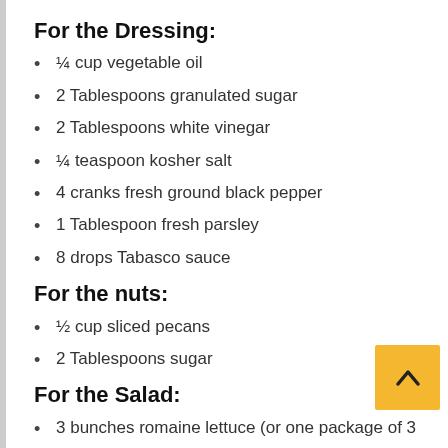For the Dressing:
¼ cup vegetable oil
2 Tablespoons granulated sugar
2 Tablespoons white vinegar
¼ teaspoon kosher salt
4 cranks fresh ground black pepper
1 Tablespoon fresh parsley
8 drops Tabasco sauce
For the nuts:
½ cup sliced pecans
2 Tablespoons sugar
For the Salad:
3 bunches romaine lettuce (or one package of 3